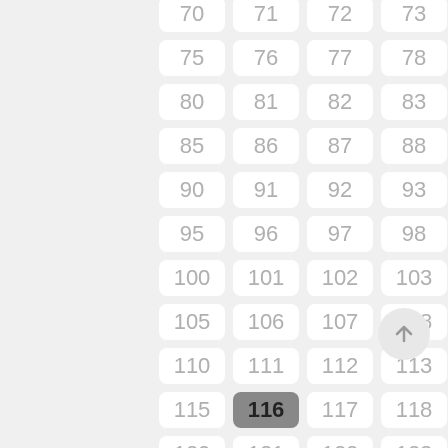[Figure (other): A scrollable numbered grid UI showing cells numbered 70-124 in a 5-column layout. Cell 116 is highlighted in dark gray. A scroll-to-top button is visible at the right side.]